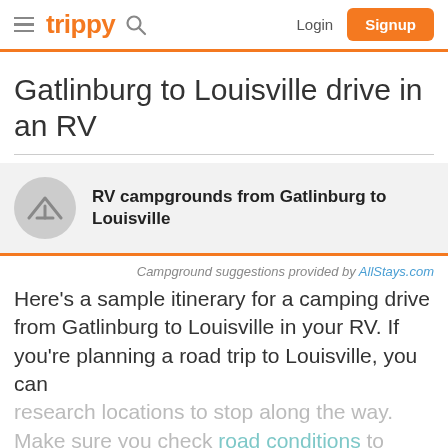trippy — Login | Signup
Gatlinburg to Louisville drive in an RV
RV campgrounds from Gatlinburg to Louisville
Campground suggestions provided by AllStays.com
Here's a sample itinerary for a camping drive from Gatlinburg to Louisville in your RV. If you're planning a road trip to Louisville, you can research locations to stop along the way. Make sure you check road conditions to double check